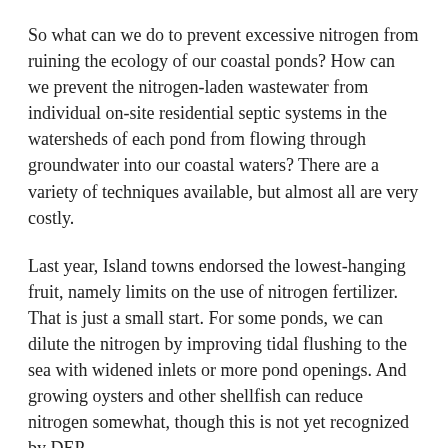So what can we do to prevent excessive nitrogen from ruining the ecology of our coastal ponds? How can we prevent the nitrogen-laden wastewater from individual on-site residential septic systems in the watersheds of each pond from flowing through groundwater into our coastal waters? There are a variety of techniques available, but almost all are very costly.
Last year, Island towns endorsed the lowest-hanging fruit, namely limits on the use of nitrogen fertilizer. That is just a small start. For some ponds, we can dilute the nitrogen by improving tidal flushing to the sea with widened inlets or more pond openings. And growing oysters and other shellfish can reduce nitrogen somewhat, though this is not yet recognized by DEP.
But the main solution will have to be treating the wastewater before the nitrogen reaches the pond. Nitrogen can be reduced at the source with techniques such as composting toilets, but it isn't clear whether they would get broad public acceptance. Sewering and centralized treatment remove about 95 per cent of the